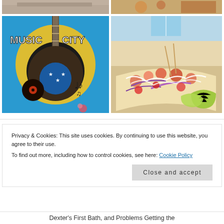[Figure (photo): Partial view of a brown/tan colored wall or surface at top-left]
[Figure (photo): Partial view of food in bowls - colorful Mexican food at top-right]
[Figure (photo): Music City mural painted on brick wall featuring guitar, record, stars, musical notes on teal/blue/yellow background]
[Figure (photo): Close-up of Mexican food - shrimp tacos or similar dish with lime wedges, tomatoes, purple onion, white sauce]
Privacy & Cookies: This site uses cookies. By continuing to use this website, you agree to their use.
To find out more, including how to control cookies, see here: Cookie Policy
Close and accept
Dexter's First Bath, and Problems Getting the